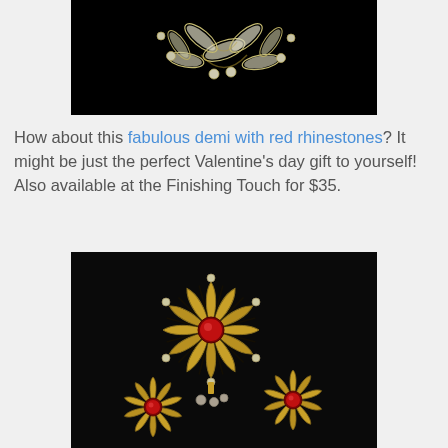[Figure (photo): Close-up photo of a crystal rhinestone brooch with marquise and round clear crystals set in gold-tone metal, on a black background — only the lower portion of the brooch is visible as the image is cropped at top.]
How about this fabulous demi with red rhinestones? It might be just the perfect Valentine's day gift to yourself! Also available at the Finishing Touch for $35.
[Figure (photo): Photo of a gold-tone demi parure jewelry set consisting of a large flower brooch with a red rhinestone center surrounded by smaller clear rhinestones, and two matching clip-on earrings, all on a black background.]